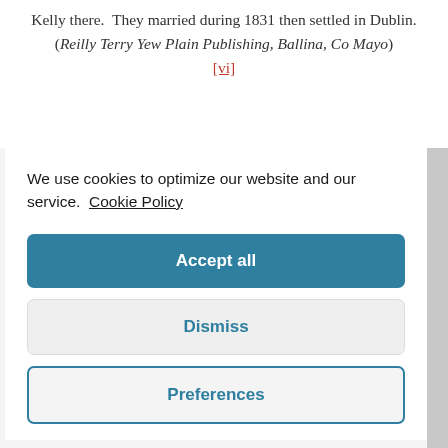Kelly there.  They married during 1831 then settled in Dublin. (Reilly Terry Yew Plain Publishing, Ballina, Co Mayo) [vi]
We use cookies to optimize our website and our service.  Cookie Policy
Accept all
Dismiss
Preferences
...st 1831 in the